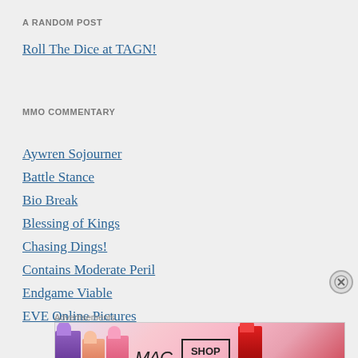A RANDOM POST
Roll The Dice at TAGN!
MMO COMMENTARY
Aywren Sojourner
Battle Stance
Bio Break
Blessing of Kings
Chasing Dings!
Contains Moderate Peril
Endgame Viable
EVE Online Pictures
Advertisements
[Figure (illustration): MAC Cosmetics advertisement showing colorful lipsticks with SHOP NOW button]